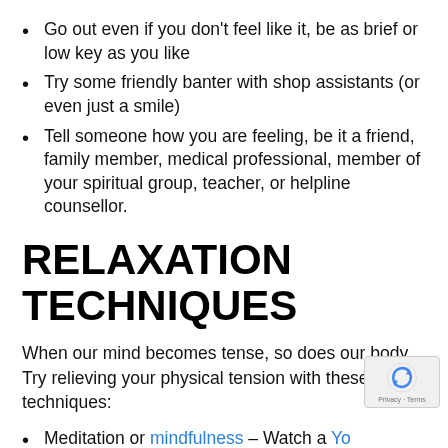Go out even if you don't feel like it, be as brief or low key as you like
Try some friendly banter with shop assistants (or even just a smile)
Tell someone how you are feeling, be it a friend, family member, medical professional, member of your spiritual group, teacher, or helpline counsellor.
RELAXATION TECHNIQUES
When our mind becomes tense, so does our body. Try relieving your physical tension with these techniques:
Meditation or mindfulness – Watch a YouTube video or read our review of mindfulness apps